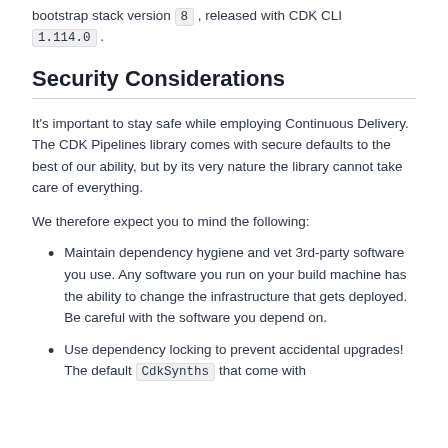bootstrap stack version 8 , released with CDK CLI 1.114.0 .
Security Considerations
It's important to stay safe while employing Continuous Delivery. The CDK Pipelines library comes with secure defaults to the best of our ability, but by its very nature the library cannot take care of everything.
We therefore expect you to mind the following:
Maintain dependency hygiene and vet 3rd-party software you use. Any software you run on your build machine has the ability to change the infrastructure that gets deployed. Be careful with the software you depend on.
Use dependency locking to prevent accidental upgrades! The default CdkSynths that come with